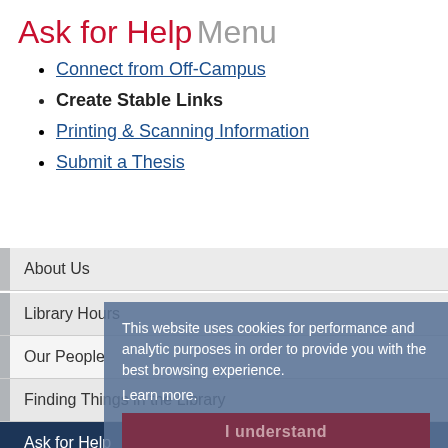Ask for Help Menu
Connect from Off-Campus
Create Stable Links
Printing & Scanning Information
Submit a Thesis
About Us
Library Hours
Our People
Finding Things in the Library
Ask for Help
Services
This website uses cookies for performance and analytic purposes in order to provide you with the best browsing experience.
Learn more.
I understand